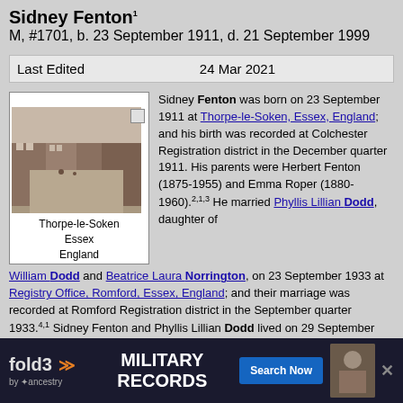Sidney Fenton¹
M, #1701, b. 23 September 1911, d. 21 September 1999
| Last Edited | 24 Mar 2021 |
| --- | --- |
[Figure (photo): Black and white historical photo of Thorpe-le-Soken street scene, Essex, England]
Thorpe-le-Soken
Essex
England
Sidney Fenton was born on 23 September 1911 at Thorpe-le-Soken, Essex, England; and his birth was recorded at Colchester Registration district in the December quarter 1911. His parents were Herbert Fenton (1875-1955) and Emma Roper (1880-1960).2,1,3 He married Phyllis Lillian Dodd, daughter of William Dodd and Beatrice Laura Norrington, on 23 September 1933 at Registry Office, Romford, Essex, England; and their marriage was recorded at Romford Registration district in the September quarter 1933.4,1 Sidney Fenton and Phyllis Lillian Dodd lived on 29 September 1939 at 3 Maple Street, Romford, Essex, England; and Sidney was age 27 at ... Axle